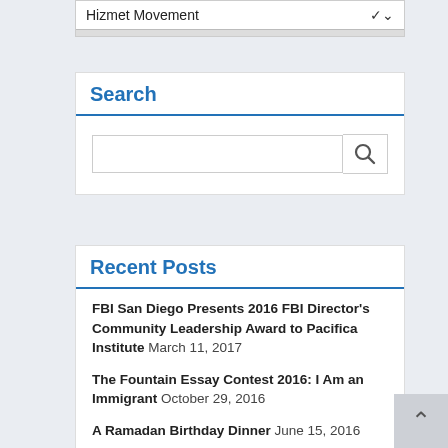Hizmet Movement
Search
Recent Posts
FBI San Diego Presents 2016 FBI Director's Community Leadership Award to Pacifica Institute March 11, 2017
The Fountain Essay Contest 2016: I Am an Immigrant October 29, 2016
A Ramadan Birthday Dinner June 15, 2016
We Strongly Condemn the Heinous